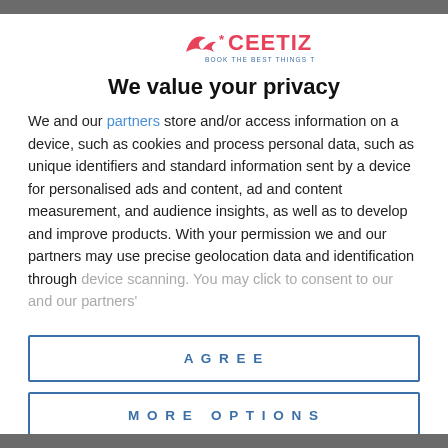[Figure (logo): CEETIZ logo — stylized bird/swoosh shape in red/pink with asterisk, text 'CEETIZ' in red, tagline 'BOOK THE BEST THINGS TO DO' in small blue text]
We value your privacy
We and our partners store and/or access information on a device, such as cookies and process personal data, such as unique identifiers and standard information sent by a device for personalised ads and content, ad and content measurement, and audience insights, as well as to develop and improve products. With your permission we and our partners may use precise geolocation data and identification through device scanning. You may click to consent to our and our partners'